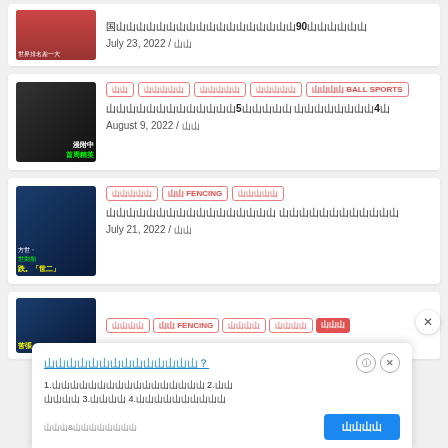Article card - partial top: Chinese title with 90, July 23, 2022
Article card: tags including BALL SPORTS, Chinese title with 5 and 4, August 9, 2022
Article card: tags including FENCING, Chinese title, July 21, 2022
Partial article card: tags including FENCING
[Figure (screenshot): Advertisement overlay popup with Chinese text, info and close buttons, CTA button in blue]
Advertisement: Chinese question title with link, list items 1-4 in Chinese, CTA button with Chinese text